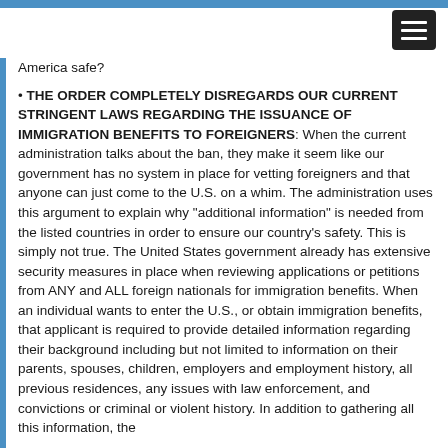America safe?
THE ORDER COMPLETELY DISREGARDS OUR CURRENT STRINGENT LAWS REGARDING THE ISSUANCE OF IMMIGRATION BENEFITS TO FOREIGNERS: When the current administration talks about the ban, they make it seem like our government has no system in place for vetting foreigners and that anyone can just come to the U.S. on a whim. The administration uses this argument to explain why “additional information” is needed from the listed countries in order to ensure our country’s safety. This is simply not true. The United States government already has extensive security measures in place when reviewing applications or petitions from ANY and ALL foreign nationals for immigration benefits. When an individual wants to enter the U.S., or obtain immigration benefits, that applicant is required to provide detailed information regarding their background including but not limited to information on their parents, spouses, children, employers and employment history, all previous residences, any issues with law enforcement, and convictions or criminal or violent history. In addition to gathering all this information, the